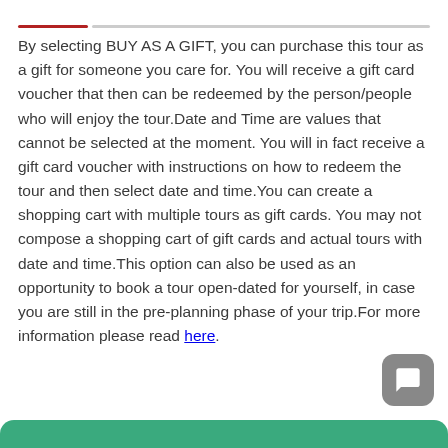By selecting BUY AS A GIFT, you can purchase this tour as a gift for someone you care for. You will receive a gift card voucher that then can be redeemed by the person/people who will enjoy the tour.Date and Time are values that cannot be selected at the moment. You will in fact receive a gift card voucher with instructions on how to redeem the tour and then select date and time.You can create a shopping cart with multiple tours as gift cards. You may not compose a shopping cart of gift cards and actual tours with date and time.This option can also be used as an opportunity to book a tour open-dated for yourself, in case you are still in the pre-planning phase of your trip.For more information please read here.